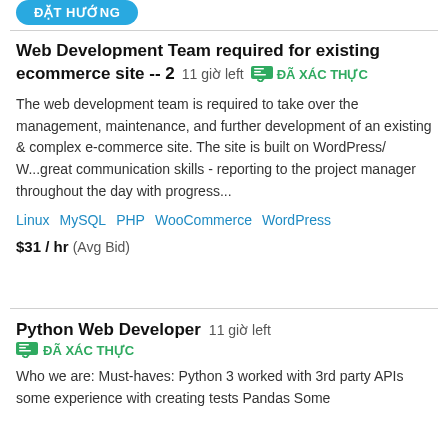[Figure (other): Blue rounded button with text 'ĐẶT HƯỚNG']
Web Development Team required for existing ecommerce site -- 2  11 giờ left  ĐÃ XÁC THỰC
The web development team is required to take over the management, maintenance, and further development of an existing & complex e-commerce site. The site is built on WordPress/ W...great communication skills - reporting to the project manager throughout the day with progress...
Linux   MySQL   PHP   WooCommerce   WordPress
$31 / hr  (Avg Bid)
Python Web Developer  11 giờ left  ĐÃ XÁC THỰC
Who we are: Must-haves: Python 3 worked with 3rd party APIs some experience with creating tests Pandas Some